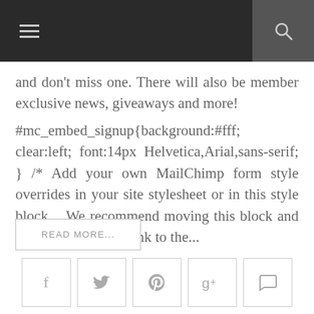[Navigation bar with menu icon and search icon]
and don't miss one. There will also be member exclusive news, giveaways and more! #mc_embed_signup{background:#fff; clear:left; font:14px Helvetica,Arial,sans-serif; } /* Add your own MailChimp form style overrides in your site stylesheet or in this style block. We recommend moving this block and the preceding CSS link to the...
READ MORE...
[Figure (infographic): Social sharing icons: Facebook, Twitter, Pinterest, Google+, Comment]